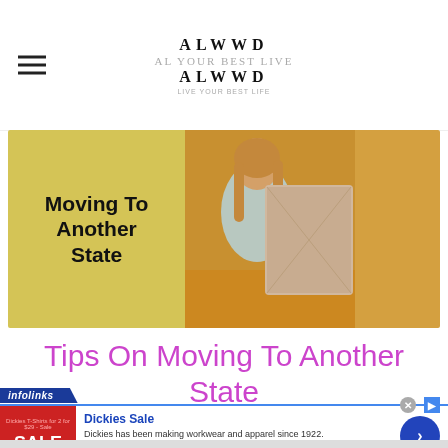ALWWD / ALWWD — AL YOUR BEST LIFE
[Figure (photo): Banner image with yellow background on left reading 'Moving To Another State' and a woman carrying a large cardboard box on the right against a golden/orange background]
Tips On Moving To Another State
[Figure (infographic): infolinks advertisement banner for Dickies Sale — Dickies has been making workwear and apparel since 1922. www.dickies.com]